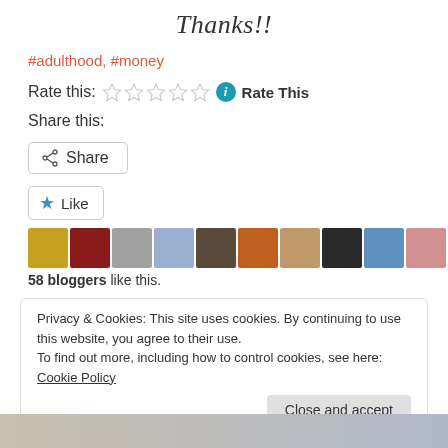Thanks!!
#adulthood, #money
Rate this:  ★★★★★  ℹ Rate This
Share this:
[Figure (screenshot): Share button with share icon]
[Figure (screenshot): Like button with star icon followed by a row of blogger avatar thumbnails]
58 bloggers like this.
Privacy & Cookies: This site uses cookies. By continuing to use this website, you agree to their use.
To find out more, including how to control cookies, see here: Cookie Policy
[Figure (screenshot): Close and accept button]